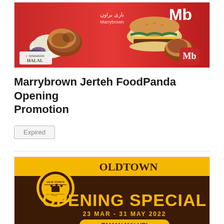[Figure (photo): Marrybrown restaurant promotional banner showing fried chicken, rice dishes, and a burger, with Marrybrown logo (Mb) in red, HALAL certification badge, and Arabic text]
Marrybrown Jerteh FoodPanda Opening Promotion
Expired
[Figure (photo): OldTown White Coffee Opening Special promotional image with dark brown background, yellow text reading 'OPENING SPECIAL 23 MAR - 31 MAY 2022 TAMAN MALURI', OldTown logo circle on left, and address text at bottom]